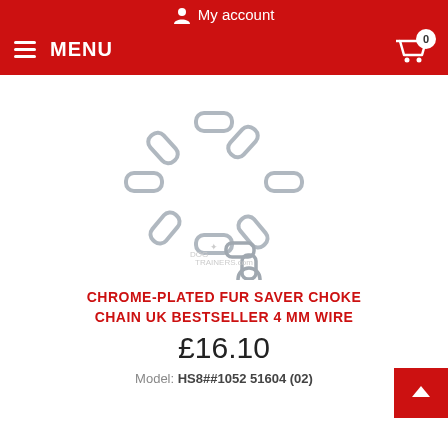My account
MENU | 0 (cart)
[Figure (photo): Chrome-plated fur saver choke chain collar made of large oval links with a ring at one end, shown in a circular arrangement on white background. Small watermark text 'DOG-TRAINERS.com' visible.]
CHROME-PLATED FUR SAVER CHOKE CHAIN UK BESTSELLER 4 MM WIRE
£16.10
Model: HS8##1052 51604 (02)